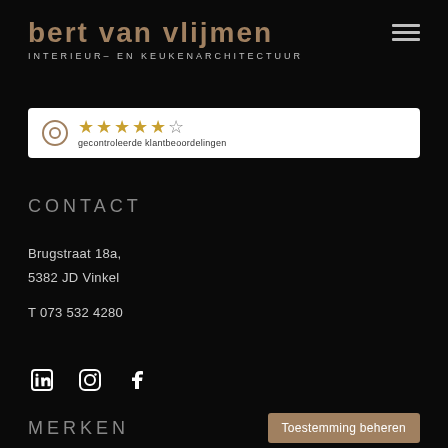BERT VAN VLIJMEN
INTERIEUR– EN KEUKENARCHITECTUUR
[Figure (screenshot): Rating widget showing a circle logo, five gold stars, and text 'gecontroleerde klantbeoordelingen' on white background]
CONTACT
Brugstraat 18a,
5382 JD Vinkel
T 073 532 4280
[Figure (infographic): Social media icons: LinkedIn, Instagram, Facebook]
MERKEN
Toestemming beheren